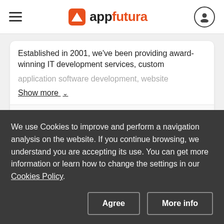appfutura
Established in 2001, we've been providing award-winning IT development services, custom application software development, website
Show more
Louisville, United St...
We use Cookies to improve and perform a navigation analysis on the website. If you continue browsing, we understand you are accepting its use. You can get more information or learn how to change the settings in our Cookies Policy.
Agree
More info